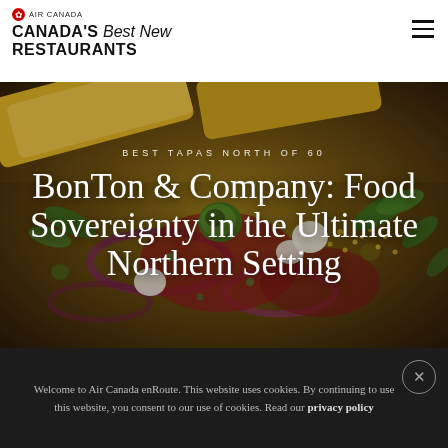AIR CANADA — CANADA'S Best New RESTAURANTS
[Figure (photo): Close-up food photo of a tapas plate with olives, cured meats, mozzarella, salad greens, mustard seeds and crostini on a dark background]
BEST TAPAS NORTH OF 60
BonTon & Company: Food Sovereignty in the Ultimate Northern Setting
Welcome to Air Canada enRoute. This website uses cookies. By continuing to use this website, you consent to our use of cookies. Read our privacy policy